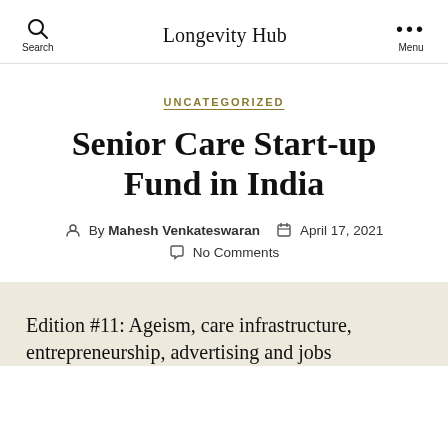Longevity Hub
UNCATEGORIZED
Senior Care Start-up Fund in India
By Mahesh Venkateswaran   April 17, 2021   No Comments
Edition #11: Ageism, care infrastructure, entrepreneurship, advertising and jobs